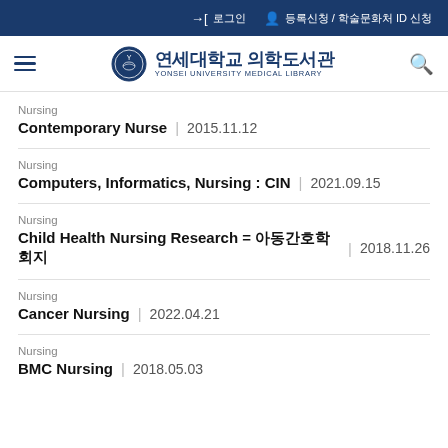로그인  등록신청 / 학술문화처 ID 신청
[Figure (logo): Yonsei University Medical Library logo with Korean text 연세대학교 의학도서관 and English text YONSEI UNIVERSITY MEDICAL LIBRARY]
Nursing | Contemporary Nurse | 2015.11.12
Nursing | Computers, Informatics, Nursing : CIN | 2021.09.15
Nursing | Child Health Nursing Research = 아동간호학회지 | 2018.11.26
Nursing | Cancer Nursing | 2022.04.21
Nursing | BMC Nursing | 2018.05.03